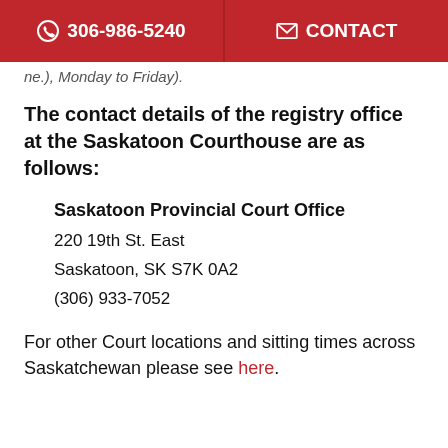306-986-5240  CONTACT
ne.), Monday to Friday).
The contact details of the registry office at the Saskatoon Courthouse are as follows:
Saskatoon Provincial Court Office
220 19th St. East
Saskatoon, SK S7K 0A2
(306) 933-7052
For other Court locations and sitting times across Saskatchewan please see here.